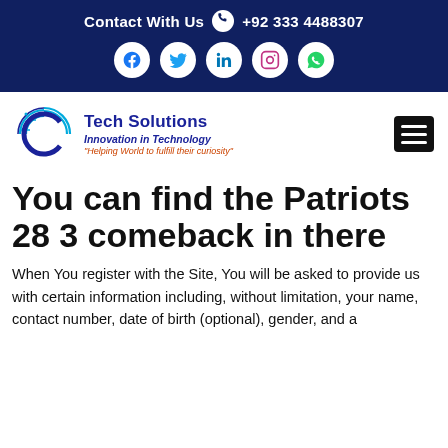Contact With Us  +92 333 4488307
[Figure (logo): Tech Solutions logo with circular circuit design, text: Tech Solutions Innovation in Technology, tagline: 'Helping World to fulfill their curiosity']
You can find the Patriots 28 3 comeback in there
When You register with the Site, You will be asked to provide us with certain information including, without limitation, your name, contact number, date of birth (optional), gender, and a